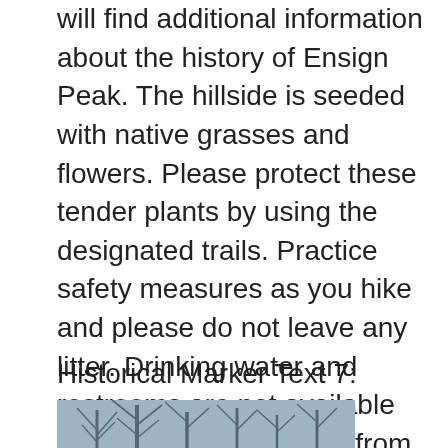will find additional information about the history of Ensign Peak. The hillside is seeded with native grasses and flowers. Please protect these tender plants by using the designated trails. Practice safety measures as you hike and please do not leave any litter. Drinking water and restrooms are not available along the trail. The hike from here to the summit of Ensign Peak is .47 miles. The elevation increases 398 feet.
Historical Marker Text 7:
[Figure (photo): Book cover for Ensign Peak Nature Park showing a dark blue cover with text 'ENSIGN PEAK NATURE PARK' and additional smaller text below, with a photo of bare winter trees against a light sky at the top.]